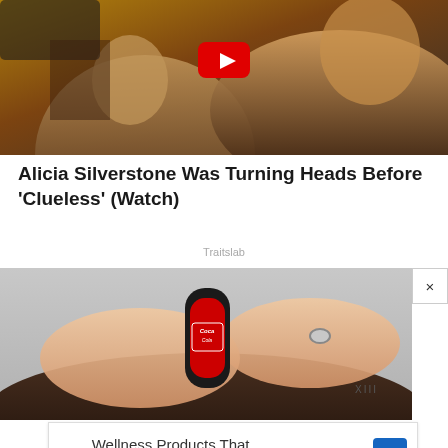[Figure (screenshot): Video thumbnail showing two people in a car scene, warm golden/orange tones, with a red YouTube play button overlay in the center top area]
Alicia Silverstone Was Turning Heads Before 'Clueless' (Watch)
Traitslab
[Figure (photo): Close-up photo of hands pressing a Coca-Cola bottle against someone's head/hair, with a tattoo reading 'XIII' visible on wrist area]
[Figure (screenshot): Walgreens advertisement banner: Wellness Products That Work As Hard As You, with Walgreens W logo in red italic and a blue diamond arrow icon]